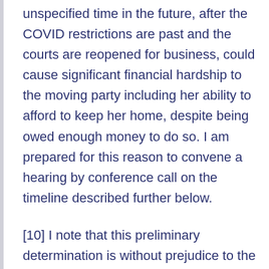unspecified time in the future, after the COVID restrictions are past and the courts are reopened for business, could cause significant financial hardship to the moving party including her ability to afford to keep her home, despite being owed enough money to do so. I am prepared for this reason to convene a hearing by conference call on the timeline described further below.
[10] I note that this preliminary determination is without prejudice to the Respondent's right to oppose the hearing of the motion as a matter of